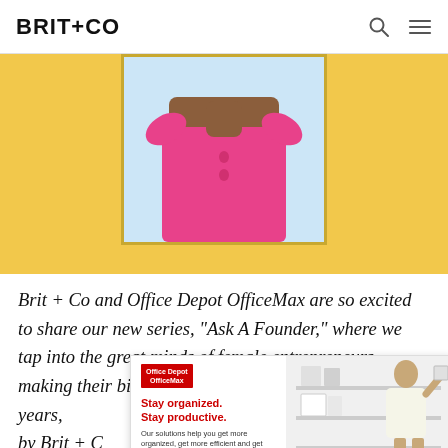BRIT+CO
[Figure (photo): Person wearing a pink top, shown from shoulders/chest area against a yellow background, partially cropped]
Brit + Co and Office Depot OfficeMax are so excited to share our new series, “Ask A Founder,” where we tap into the great minds of female entrepreneurs making their big idea a reality. For the past two years, our Selfm... led by Brit + C... oy our